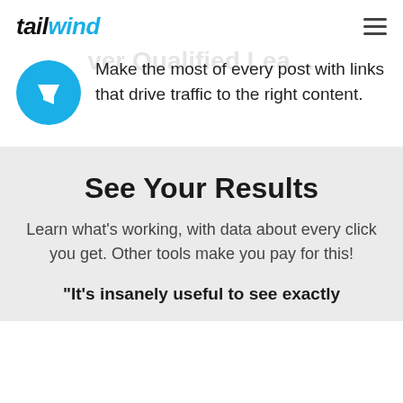tailwind
ver Qualified Lea…
Make the most of every post with links that drive traffic to the right content.
See Your Results
Learn what's working, with data about every click you get. Other tools make you pay for this!
"It's insanely useful to see exactly